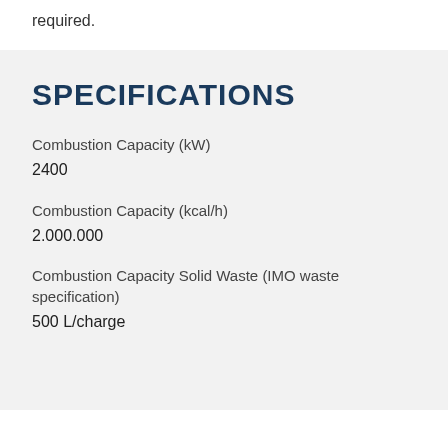required.
SPECIFICATIONS
Combustion Capacity (kW)
2400
Combustion Capacity (kcal/h)
2.000.000
Combustion Capacity Solid Waste (IMO waste specification)
500 L/charge